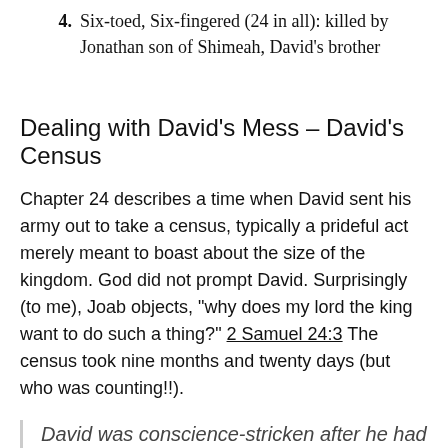4. Six-toed, Six-fingered (24 in all): killed by Jonathan son of Shimeah, David's brother
Dealing with David's Mess – David's Census
Chapter 24 describes a time when David sent his army out to take a census, typically a prideful act merely meant to boast about the size of the kingdom. God did not prompt David. Surprisingly (to me), Joab objects, "why does my lord the king want to do such a thing?" 2 Samuel 24:3 The census took nine months and twenty days (but who was counting!!).
David was conscience-stricken after he had counted the fighting men, and he said